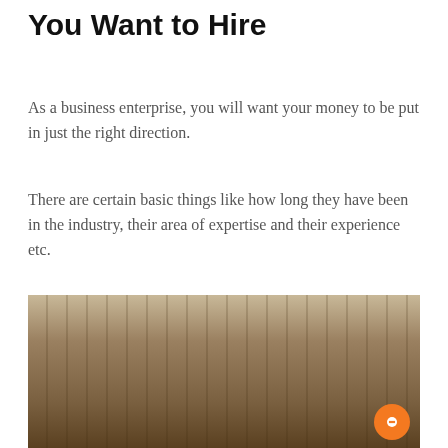You Want to Hire
As a business enterprise, you will want your money to be put in just the right direction.
There are certain basic things like how long they have been in the industry, their area of expertise and their experience etc.
[Figure (photo): Sepia-toned photograph of a courtroom scene with figures seated in formal attire, with a cookie consent overlay dialog in the foreground reading 'This website uses cookies to improve your web experience.' with an Accept button.]